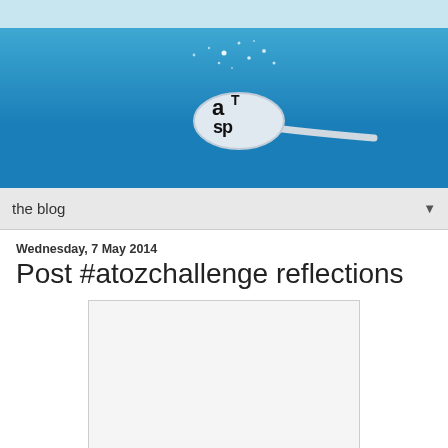[Figure (logo): ATSP blog logo — stylized text 'aT sp' on a spoon graphic with sparkles, on a blue gradient background]
the blog ▼
Wednesday, 7 May 2014
Post #atozchallenge reflections
[Figure (photo): Blank/placeholder image box]
I'd wanted to do this reflection post earlier (like say Monday) but life got in the way, the same way it's been doing all through April...